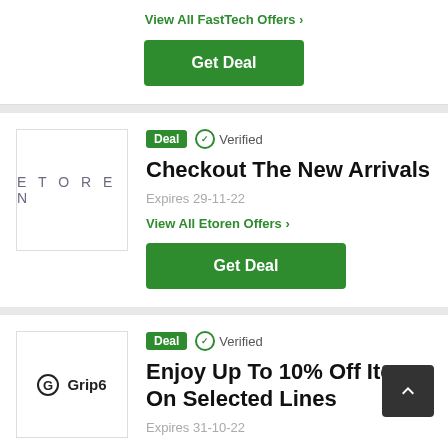View All FastTech Offers >
Get Deal
[Figure (logo): ETOREN brand logo in grey spaced lettering]
Deal  ✓ Verified
Checkout The New Arrivals
Expires 29-11-22
View All Etoren Offers >
Get Deal
[Figure (logo): Grip6 brand logo with circular G icon]
Deal  ✓ Verified
Enjoy Up To 10% Off Items On Selected Lines
Expires 31-10-22